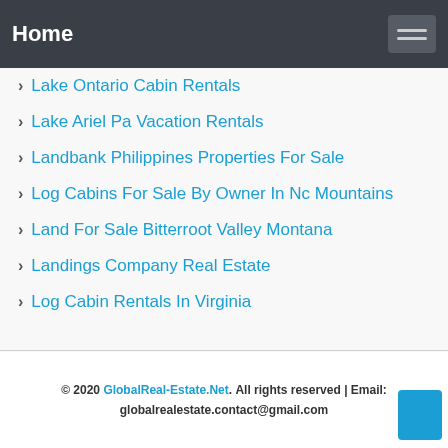Home
Lake Ontario Cabin Rentals
Lake Ariel Pa Vacation Rentals
Landbank Philippines Properties For Sale
Log Cabins For Sale By Owner In Nc Mountains
Land For Sale Bitterroot Valley Montana
Landings Company Real Estate
Log Cabin Rentals In Virginia
© 2020 GlobalReal-Estate.Net. All rights reserved | Email: globalrealestate.contact@gmail.com